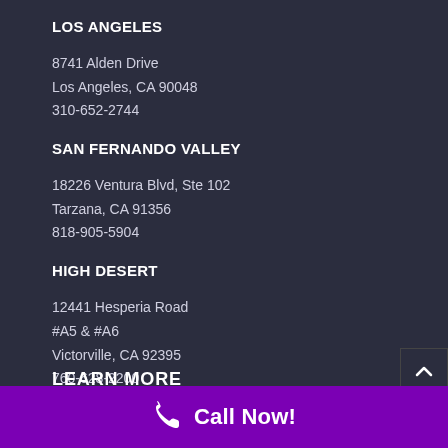LOS ANGELES
8741 Alden Drive
Los Angeles, CA 90048
310-652-2744
SAN FERNANDO VALLEY
18226 Ventura Blvd, Ste 102
Tarzana, CA 91356
818-905-5904
HIGH DESERT
12441 Hesperia Road
#A5 & #A6
Victorville, CA 92395
760-628-2200
LEARN MORE
Call Now!